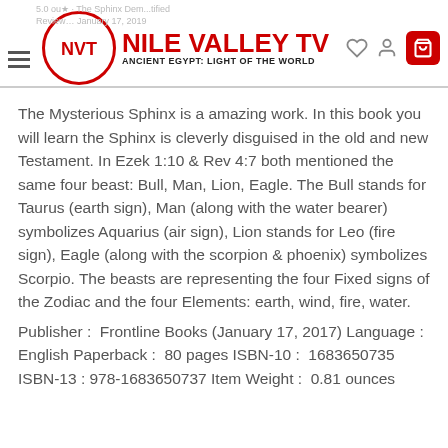NILE VALLEY TV — ANCIENT EGYPT: LIGHT OF THE WORLD
The Mysterious Sphinx is a amazing work. In this book you will learn the Sphinx is cleverly disguised in the old and new Testament. In Ezek 1:10 & Rev 4:7 both mentioned the same four beast: Bull, Man, Lion, Eagle. The Bull stands for Taurus (earth sign), Man (along with the water bearer) symbolizes Aquarius (air sign), Lion stands for Leo (fire sign), Eagle (along with the scorpion & phoenix) symbolizes Scorpio. The beasts are representing the four Fixed signs of the Zodiac and the four Elements: earth, wind, fire, water.
Publisher : Frontline Books (January 17, 2017) Language : English Paperback : 80 pages ISBN-10 : 1683650735 ISBN-13 : 978-1683650737 Item Weight : 0.81 ounces